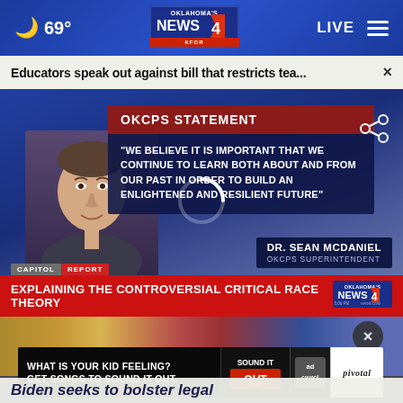69° | Oklahoma's News 4 | LIVE
Educators speak out against bill that restricts tea... ×
[Figure (screenshot): News broadcast screenshot showing OKCPS Statement with quote: 'WE BELIEVE IT IS IMPORTANT THAT WE CONTINUE TO LEARN BOTH ABOUT AND FROM OUR PAST IN ORDER TO BUILD AN ENLIGHTENED AND RESILIENT FUTURE' attributed to DR. SEAN MCDANIEL, OKCPS SUPERINTENDENT. Lower third reads: CAPITOL REPORT - EXPLAINING THE CONTROVERSIAL CRITICAL RACE THEORY - Oklahoma's News 4]
[Figure (screenshot): Second video thumbnail showing crowd with advertisement banner: WHAT IS YOUR KID FEELING? GET SONGS TO SOUND IT OUT. Sound It Out / Ad Council / Pivotal]
Biden seeks to bolster legal